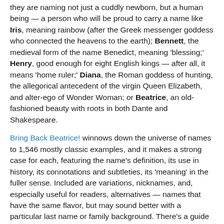they are naming not just a cuddly newborn, but a human being — a person who will be proud to carry a name like Iris, meaning rainbow (after the Greek messenger goddess who connected the heavens to the earth); Bennett, the medieval form of the name Benedict, meaning 'blessing;' Henry, good enough for eight English kings — after all, it means 'home ruler;' Diana, the Roman goddess of hunting, the allegorical antecedent of the virgin Queen Elizabeth, and alter-ego of Wonder Woman; or Beatrice, an old-fashioned beauty with roots in both Dante and Shakespeare.
Bring Back Beatrice! winnows down the universe of names to 1,546 mostly classic examples, and it makes a strong case for each, featuring the name's definition, its use in history, its connotations and subtleties, its 'meaning' in the fuller sense. Included are variations, nicknames, and, especially useful for readers, alternatives — names that have the same flavor, but may sound better with a particular last name or family background. There's a guide to the basic rules of baby naming: scansion — the sounds, syllables, and rhythm of a name, and how it goes with a last name — ethnic traditions, recent trends, effective use of a middle